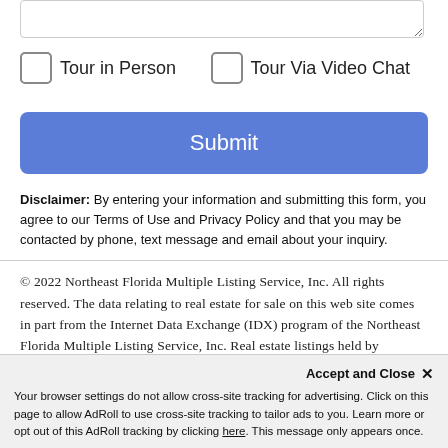[Figure (other): Textarea input stub at top of form]
Tour in Person
Tour Via Video Chat
Submit
Disclaimer: By entering your information and submitting this form, you agree to our Terms of Use and Privacy Policy and that you may be contacted by phone, text message and email about your inquiry.
© 2022 Northeast Florida Multiple Listing Service, Inc. All rights reserved. The data relating to real estate for sale on this web site comes in part from the Internet Data Exchange (IDX) program of the Northeast Florida Multiple Listing Service, Inc. Real estate listings held by brokerage firms other than The Hanley Home Team at Keller Williams Realty Atlantic Partners Southside are marked with the listing broker's name and detailed information about such
Accept and Close ✕
Your browser settings do not allow cross-site tracking for advertising. Click on this page to allow AdRoll to use cross-site tracking to tailor ads to you. Learn more or opt out of this AdRoll tracking by clicking here. This message only appears once.